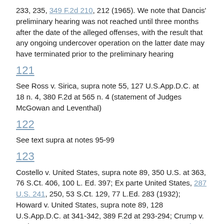233, 235, 349 F.2d 210, 212 (1965). We note that Dancis' preliminary hearing was not reached until three months after the date of the alleged offenses, with the result that any ongoing undercover operation on the latter date may have terminated prior to the preliminary hearing
121
See Ross v. Sirica, supra note 55, 127 U.S.App.D.C. at 18 n. 4, 380 F.2d at 565 n. 4 (statement of Judges McGowan and Leventhal)
122
See text supra at notes 95-99
123
Costello v. United States, supra note 89, 350 U.S. at 363, 76 S.Ct. 406, 100 L. Ed. 397; Ex parte United States, 287 U.S. 241, 250, 53 S.Ct. 129, 77 L.Ed. 283 (1932); Howard v. United States, supra note 89, 128 U.S.App.D.C. at 341-342, 389 F.2d at 293-294; Crump v. Anderson, 122 U.S.App.D.C. 173, 175-177, 352 F.2d 649, 651-653 (1965)